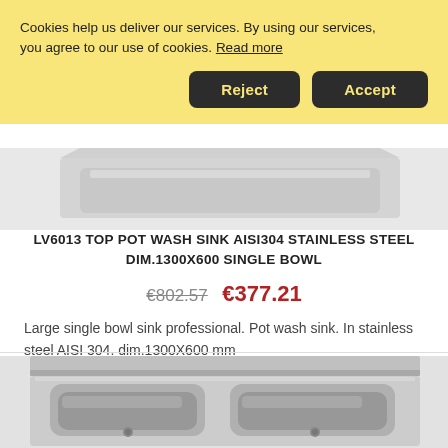Cookies help us deliver our services. By using our services, you agree to our use of cookies. Read more
Reject | Accept
[Figure (photo): Partial top view of a stainless steel single bowl pot wash sink]
LV6013 TOP POT WASH SINK AISI304 STAINLESS STEEL DIM.1300X600 SINGLE BOWL
€802.57  €377.21
Large single bowl sink professional. Pot wash sink. In stainless steel AISI 304. dim.1300X600 mm
[Figure (photo): Stainless steel double bowl pot wash sink, top view showing two deep bowls]